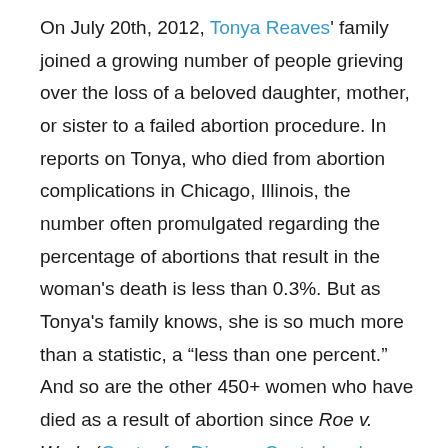On July 20th, 2012, Tonya Reaves' family joined a growing number of people grieving over the loss of a beloved daughter, mother, or sister to a failed abortion procedure. In reports on Tonya, who died from abortion complications in Chicago, Illinois, the number often promulgated regarding the percentage of abortions that result in the woman's death is less than 0.3%. But as Tonya's family knows, she is so much more than a statistic, a “less than one percent.” And so are the other 450+ women who have died as a result of abortion since Roe v. Wade (Center for Disease Control and Prevention Report, pg 36).